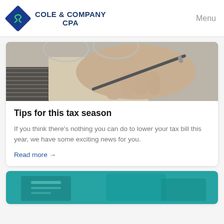COLE & COMPANY CPA  Menu
[Figure (photo): Close-up photo of a hand holding a pen over a spiral notebook, with eyeglasses in the background — tax/accounting imagery.]
Tips for this tax season
If you think there’s nothing you can do to lower your tax bill this year, we have some exciting news for you.
Read more →
[Figure (photo): Partial view of a teal/blue-toned photo, likely showing a calculator or financial documents — partial card at bottom of page.]